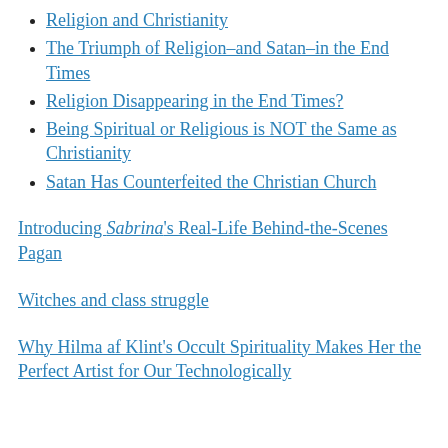Religion and Christianity
The Triumph of Religion–and Satan–in the End Times
Religion Disappearing in the End Times?
Being Spiritual or Religious is NOT the Same as Christianity
Satan Has Counterfeited the Christian Church
Introducing Sabrina's Real-Life Behind-the-Scenes Pagan
Witches and class struggle
Why Hilma af Klint's Occult Spirituality Makes Her the Perfect Artist for Our Technologically